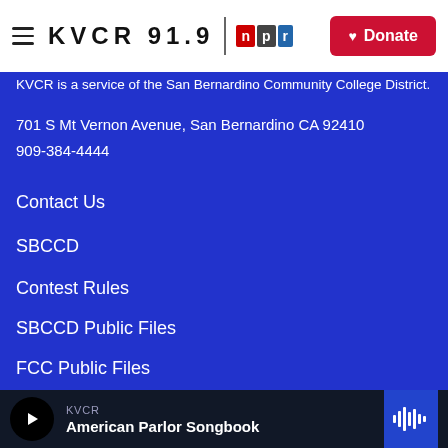KVCR 91.9 NPR | Donate
KVCR is a service of the San Bernardino Community College District.
701 S Mt Vernon Avenue, San Bernardino CA 92410
909-384-4444
Contact Us
SBCCD
Contest Rules
SBCCD Public Files
FCC Public Files
FCC EEO Public File Reports
KVCR | American Parlor Songbook